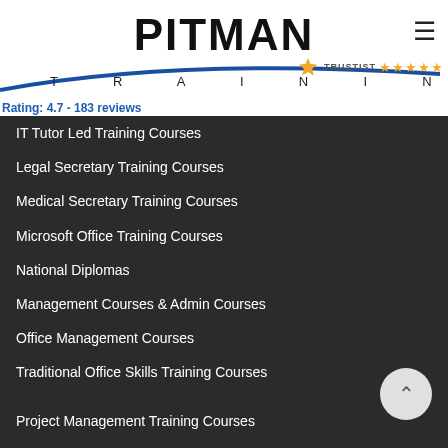[Figure (logo): Pitman Training logo with swoosh and TRAINING text, Trustist 5-star rating badge]
Rating: 4.7 - 183 reviews
IT Tutor Led Training Courses
Legal Secretary Training Courses
Medical Secretary Training Courses
Microsoft Office Training Courses
National Diplomas
Management Courses & Admin Courses
Office Management Courses
Traditional Office Skills Training Courses
Project Management Training Courses
Sage Accounting Courses